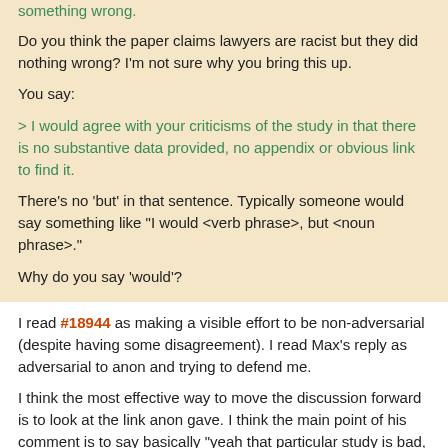something wrong.
Do you think the paper claims lawyers are racist but they did nothing wrong? I'm not sure why you bring this up.
You say:
> I would agree with your criticisms of the study in that there is no substantive data provided, no appendix or obvious link to find it.
There's no 'but' in that sentence. Typically someone would say something like "I would <verb phrase>, but <noun phrase>."
Why do you say 'would'?
> I understand this was 4 years ago
It was ~5.5 years ago.
Max at 6:24 AM on December 3, 2020 | #18945 | reply | quote
I read #18944 as making a visible effort to be non-adversarial (despite having some disagreement). I read Max's reply as adversarial to anon and trying to defend me.
I think the most effective way to move the discussion forward is to look at the link anon gave. I think the main point of his comment is to say basically "yeah that particular study is bad, but here's one I think